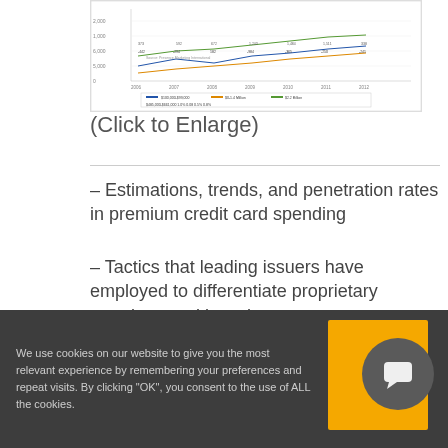[Figure (continuous-plot): Small chart image showing premium credit card data trends over years 2006-2013 with multiple lines/series and legend]
(Click to Enlarge)
– Estimations, trends, and penetration rates in premium credit card spending
– Tactics that leading issuers have employed to differentiate proprietary premium card brands
We use cookies on our website to give you the most relevant experience by remembering your preferences and repeat visits. By clicking "OK", you consent to the use of ALL the cookies.